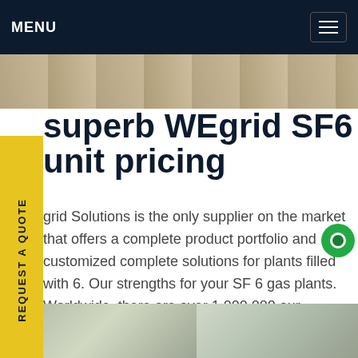MENU
superb WEgrid SF6 unit pricing
grid Solutions is the only supplier on the market that offers a complete product portfolio and customized complete solutions for plants filled with 6. Our strengths for your SF 6 gas plants. Worldwide, there are over 1,000,000 our company density monitoring instruments in use. This number stems from the high quality of our products which areGet price
[Figure (photo): Industrial equipment photo strip at bottom of page showing power grid infrastructure]
[Figure (photo): Partial image strip at top showing industrial equipment]